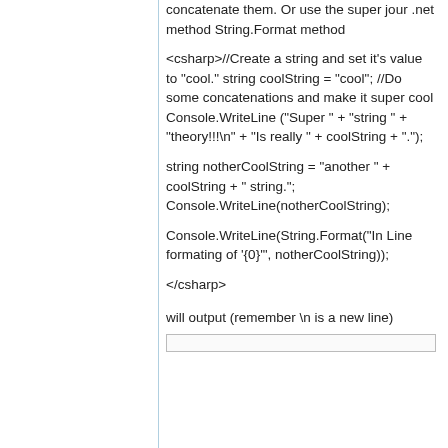concatenate them. Or use the super jour .net method String.Format method
<csharp>//Create a string and set it's value to "cool." string coolString = "cool"; //Do some concatenations and make it super cool Console.WriteLine ("Super " + "string " + "theory!!!\n" + "Is really " + coolString + "."); string notherCoolString = "another " + coolString + " string."; Console.WriteLine(notherCoolString); Console.WriteLine(String.Format("In Line formating of '{0}'", notherCoolString)); </csharp>
will output (remember \n is a new line)